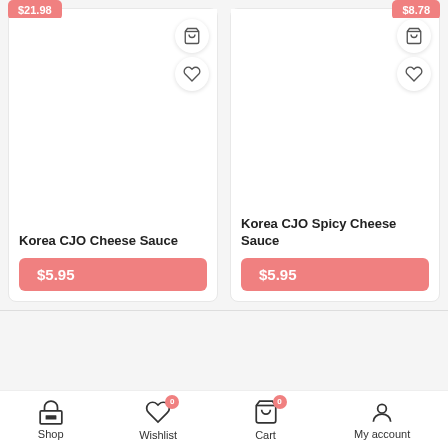Korea CJO Cheese Sauce
$5.95
Korea CJO Spicy Cheese Sauce
$5.95
Snack Affair © 2021 All Rights Reserved
Shop
Wishlist
Cart
My account